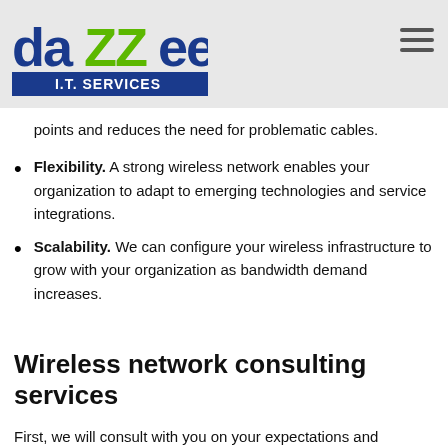daZZee I.T. SERVICES
points and reduces the need for problematic cables.
Flexibility. A strong wireless network enables your organization to adapt to emerging technologies and service integrations.
Scalability. We can configure your wireless infrastructure to grow with your organization as bandwidth demand increases.
Wireless network consulting services
First, we will consult with you on your expectations and requirements.  For instance, how many employees and